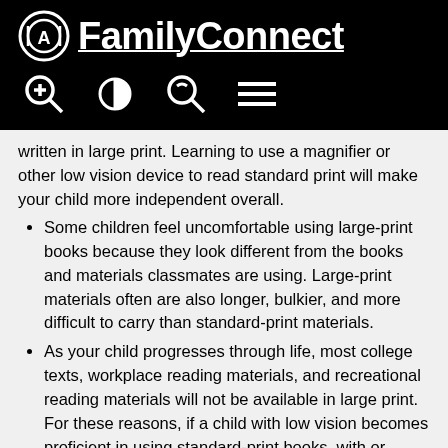APH FamilyConnect
written in large print. Learning to use a magnifier or other low vision device to read standard print will make your child more independent overall.
Some children feel uncomfortable using large-print books because they look different from the books and materials classmates are using. Large-print materials often are also longer, bulkier, and more difficult to carry than standard-print materials.
As your child progresses through life, most college texts, workplace reading materials, and recreational reading materials will not be available in large print. For these reasons, if a child with low vision becomes proficient in using standard-print books, with or